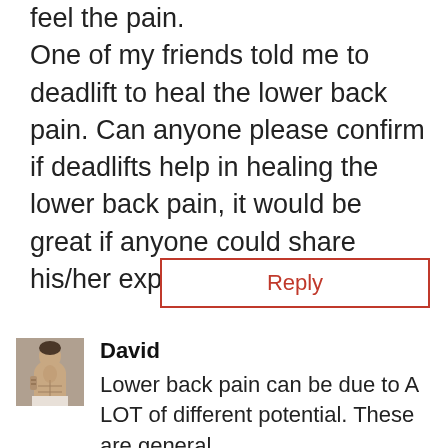feel the pain. One of my friends told me to deadlift to heal the lower back pain. Can anyone please confirm if deadlifts help in healing the lower back pain, it would be great if anyone could share his/her experience, Thanks.
Reply
[Figure (photo): Avatar photo of a muscular shirtless man with tattoos]
David
Lower back pain can be due to A LOT of different potential. These are general